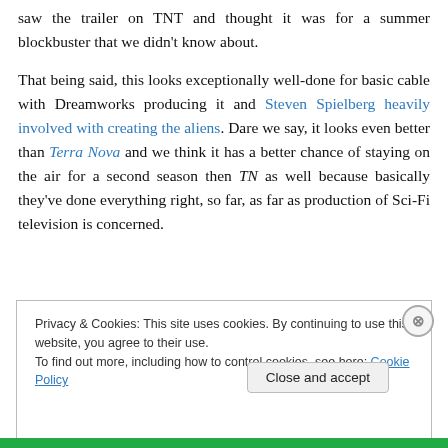saw the trailer on TNT and thought it was for a summer blockbuster that we didn't know about.

That being said, this looks exceptionally well-done for basic cable with Dreamworks producing it and Steven Spielberg heavily involved with creating the aliens. Dare we say, it looks even better than Terra Nova and we think it has a better chance of staying on the air for a second season then TN as well because basically they've done everything right, so far, as far as production of Sci-Fi television is concerned.
Privacy & Cookies: This site uses cookies. By continuing to use this website, you agree to their use.
To find out more, including how to control cookies, see here: Cookie Policy
Close and accept